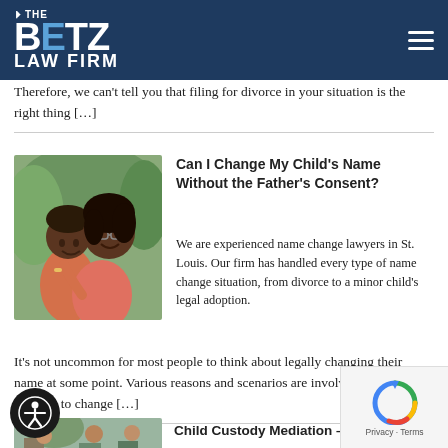THE BETZ LAW FIRM
Therefore, we can't tell you that filing for divorce in your situation is the right thing [...]
Can I Change My Child's Name Without the Father's Consent?
[Figure (photo): Photo of a woman and child smiling, hugging outdoors]
We are experienced name change lawyers in St. Louis. Our firm has handled every type of name change situation, from divorce to a minor child's legal adoption. It's not uncommon for most people to think about legally changing their name at some point. Various reasons and scenarios are involved in needing or wanting to change [...]
[Figure (photo): Photo of people in a child custody mediation setting]
Child Custody Mediation –